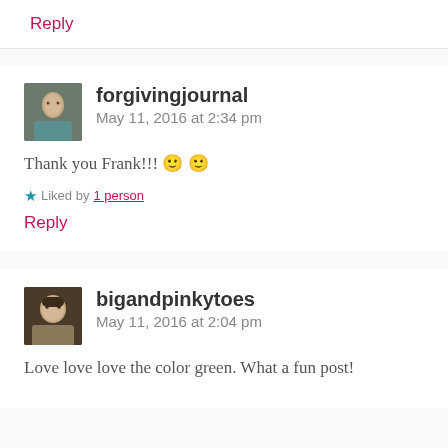Reply
forgivingjournal   May 11, 2016 at 2:34 pm
Thank you Frank!!! 🙂 🙂
Liked by 1 person
Reply
bigandpinkytoes   May 11, 2016 at 2:04 pm
Love love love the color green. What a fun post!